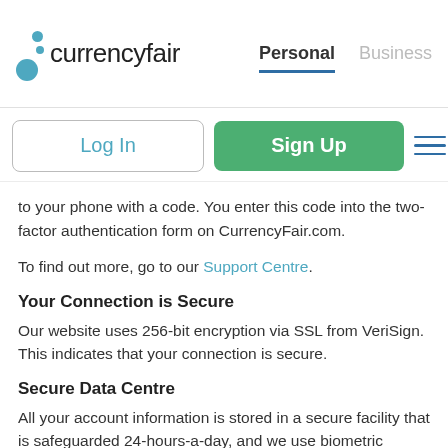currencyfair | Personal | Business
Log In | Sign Up
to your phone with a code. You enter this code into the two-factor authentication form on CurrencyFair.com.
To find out more, go to our Support Centre.
Your Connection is Secure
Our website uses 256-bit encryption via SSL from VeriSign. This indicates that your connection is secure.
Secure Data Centre
All your account information is stored in a secure facility that is safeguarded 24-hours-a-day, and we use biometric security to gain access to our servers.
Continuous Boundary & Chec...